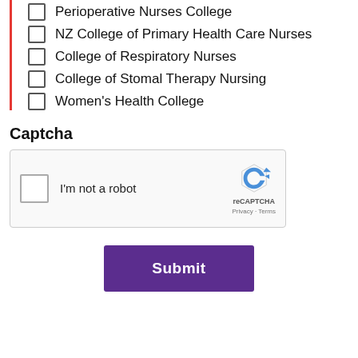Perioperative Nurses College
NZ College of Primary Health Care Nurses
College of Respiratory Nurses
College of Stomal Therapy Nursing
Women's Health College
Captcha
[Figure (screenshot): reCAPTCHA widget with checkbox labeled 'I'm not a robot' and reCAPTCHA branding with Privacy and Terms links]
Submit